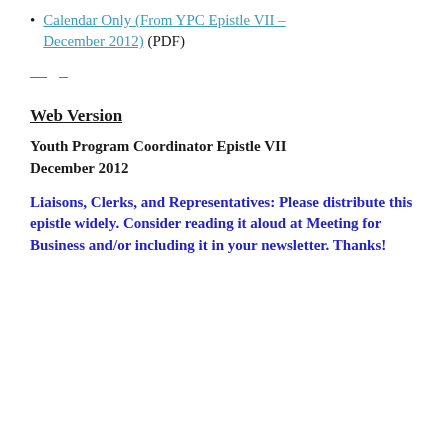Calendar Only (From YPC Epistle VII – December 2012) (PDF)
— –
Web Version
Youth Program Coordinator Epistle VII December 2012
Liaisons, Clerks, and Representatives: Please distribute this epistle widely. Consider reading it aloud at Meeting for Business and/or including it in your newsletter. Thanks!